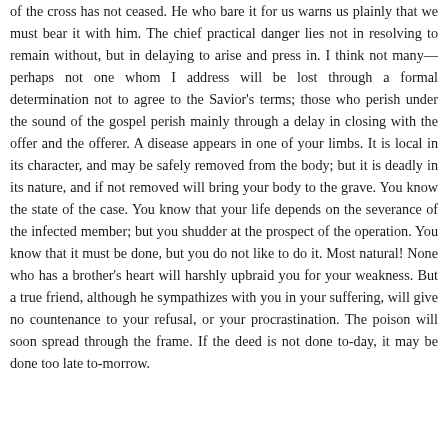of the cross has not ceased. He who bare it for us warns us plainly that we must bear it with him. The chief practical danger lies not in resolving to remain without, but in delaying to arise and press in. I think not many—perhaps not one whom I address will be lost through a formal determination not to agree to the Savior's terms; those who perish under the sound of the gospel perish mainly through a delay in closing with the offer and the offerer. A disease appears in one of your limbs. It is local in its character, and may be safely removed from the body; but it is deadly in its nature, and if not removed will bring your body to the grave. You know the state of the case. You know that your life depends on the severance of the infected member; but you shudder at the prospect of the operation. You know that it must be done, but you do not like to do it. Most natural! None who has a brother's heart will harshly upbraid you for your weakness. But a true friend, although he sympathizes with you in your suffering, will give no countenance to your refusal, or your procrastination. The poison will soon spread through the frame. If the deed is not done to-day, it may be done too late to-morrow.